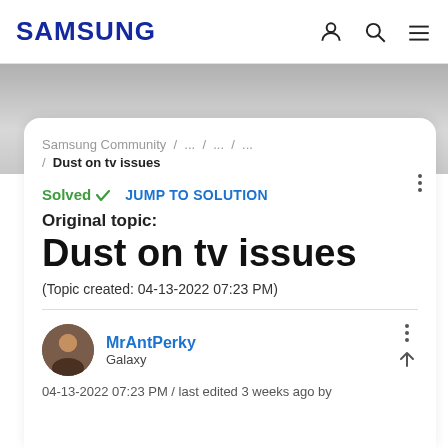SAMSUNG
Samsung Community / ... / ... / ... / Dust on tv issues
Solved ✓   JUMP TO SOLUTION
Original topic:
Dust on tv issues
(Topic created: 04-13-2022 07:23 PM)
MrAntPerky
Galaxy
04-13-2022 07:23 PM / last edited 3 weeks ago by